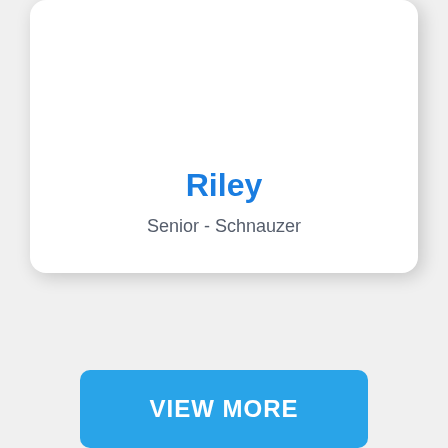Riley
Senior - Schnauzer
VIEW MORE